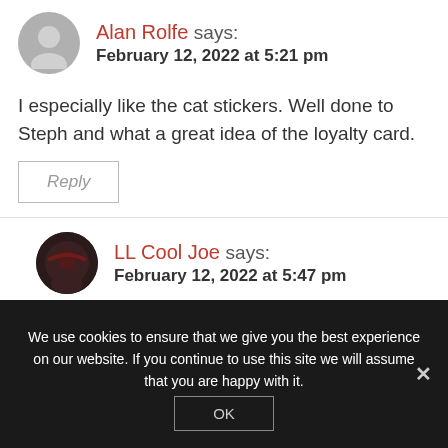Alan Rolfe says: February 12, 2022 at 5:21 pm
I especially like the cat stickers. Well done to Steph and what a great idea of the loyalty card.
Reply
LL Cool Joe says: February 12, 2022 at 5:47 pm
We use cookies to ensure that we give you the best experience on our website. If you continue to use this site we will assume that you are happy with it.
OK